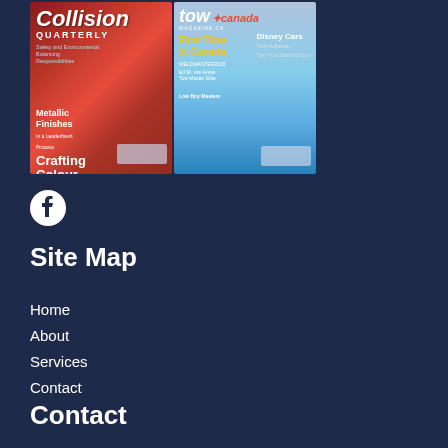[Figure (photo): Two magazine covers side by side: 'Collision Quarterly' on the left featuring a woman in a red car with headlines 'Metallic Finishes' and 'Crafting Colour Automotive Paint Development', and 'Tow Canada' on the right featuring a large blue tow truck with headlines 'First Time in Canada' and 'Disney Cars'.]
[Figure (logo): Facebook social media icon (circle with 'f' logo)]
Site Map
Home
About
Services
Contact
Contact